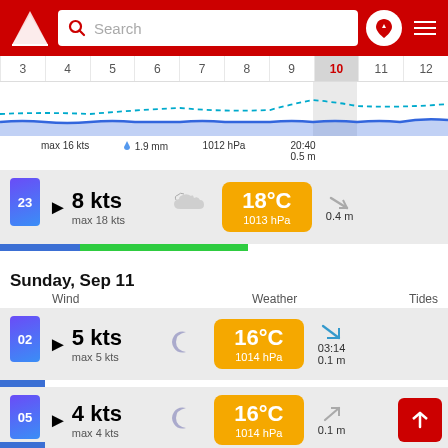Search bar with logo and navigation icons
[Figure (continuous-plot): Hourly timeline chart showing hours 3 through 12 with column 10 highlighted; includes wave/wind graph lines in blue and dashed teal, with rain/pressure annotations: max 16 kts, 1.9 mm, 1012 hPa, 20:40, 0.5 m]
23  ► 8 kts  max 18 kts  [night-cloud icon]  18°C  1013 hPa  ↘  0.4 m
Sunday, Sep 11
Wind  Weather  Tides
02  ► 5 kts  max 5 kts  [moon icon]  16°C  1014 hPa  ↙  03:14  0.1 m
05  ► 4 kts  max 4 kts  [moon icon]  16°C  1014 hPa  ↗  0.1 m